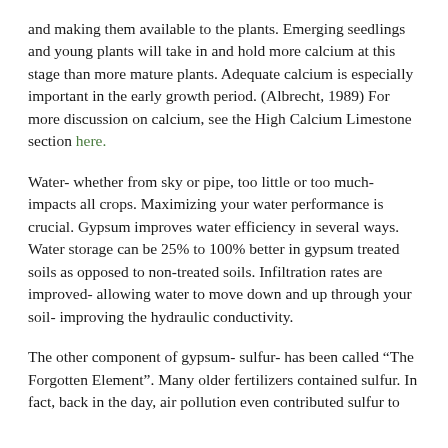and making them available to the plants. Emerging seedlings and young plants will take in and hold more calcium at this stage than more mature plants. Adequate calcium is especially important in the early growth period. (Albrecht, 1989) For more discussion on calcium, see the High Calcium Limestone section here.
Water- whether from sky or pipe, too little or too much- impacts all crops. Maximizing your water performance is crucial. Gypsum improves water efficiency in several ways. Water storage can be 25% to 100% better in gypsum treated soils as opposed to non-treated soils. Infiltration rates are improved- allowing water to move down and up through your soil- improving the hydraulic conductivity.
The other component of gypsum- sulfur- has been called “The Forgotten Element”. Many older fertilizers contained sulfur. In fact, back in the day, air pollution even contributed sulfur to